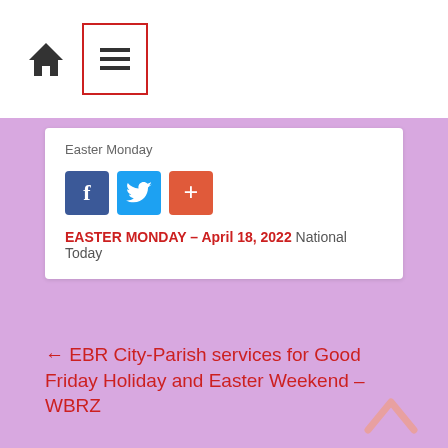Home / Menu navigation bar
Easter Monday
[Figure (other): Social sharing buttons: Facebook (f), Twitter (bird), Google Plus (+)]
EASTER MONDAY – April 18, 2022  National Today
← EBR City-Parish services for Good Friday Holiday and Easter Weekend – WBRZ
Traditional Southern Easter Dinner Recipes – rutherfordsource.com →